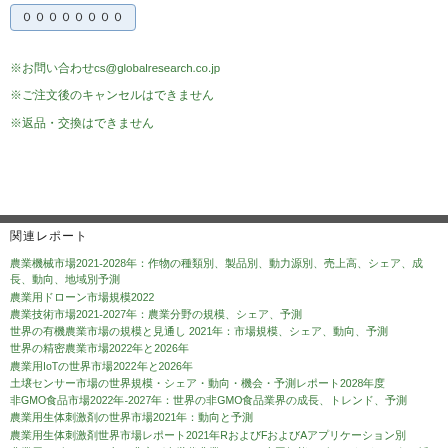[Figure (other): Button/tab element with Japanese text]
※お問い合わせcs@globalresearch.co.jp
※ご注文後のキャンセルはできません
※返品・交換はできません
関連レポート
農業機械市場2021-2028年：作物の種類別、製品別、動力源別、売上高、シェア、成長、動向、地域別予測
農業用ドローン市場規模2022
農業技術市場2021-2027年：農業分野の規模、シェア、予測
世界の有機農業市場の規模と見通し 2021年：市場規模、シェア、動向、予測
世界の精密農業市場2022年と2026年
農業用IoTの世界市場2022年と2026年
土壌センサー市場の世界規模・シェア・動向・機会・予測レポート2028年度
非GMO食品市場2022年-2027年：世界の非GMO食品業界の成長、トレンド、予測
農業用生体刺激剤の世界市場2021年：動向と予測
農業用生体刺激剤世界市場レポート2021年RおよびFおよびAアプリケーション別
農業用ロボット2021年：農家が次世代農業のために人工知能ロボットをどのように採用しているか